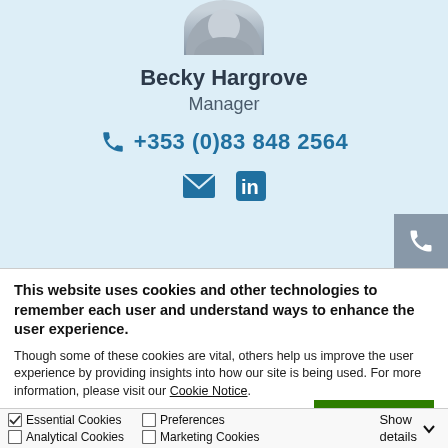[Figure (photo): Circular profile photo of a person (Becky Hargrove), cropped at top showing head/shoulders in grayscale, on a light blue background]
Becky Hargrove
Manager
+353 (0)83 848 2564
[Figure (illustration): Email envelope icon and LinkedIn 'in' icon in blue]
This website uses cookies and other technologies to remember each user and understand ways to enhance the user experience.
Though some of these cookies are vital, others help us improve the user experience by providing insights into how our site is being used. For more information, please visit our Cookie Notice.
OK
Essential Cookies   Preferences
Analytical Cookies   Marketing Cookies   Show details